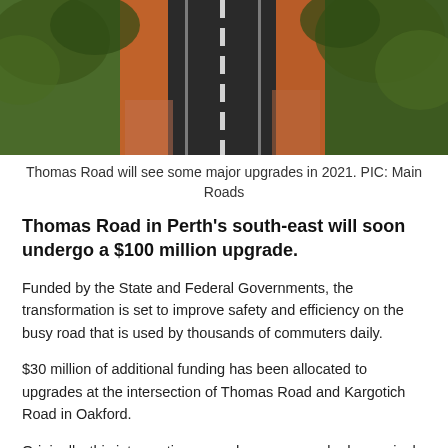[Figure (photo): Aerial view of Thomas Road, a two-lane highway with red dirt shoulders, surrounded by trees and scrubland.]
Thomas Road will see some major upgrades in 2021. PIC: Main Roads
Thomas Road in Perth's south-east will soon undergo a $100 million upgrade.
Funded by the State and Federal Governments, the transformation is set to improve safety and efficiency on the busy road that is used by thousands of commuters daily.
$30 million of additional funding has been allocated to upgrades at the intersection of Thomas Road and Kargotich Road in Oakford.
Originally, this intersection upgrade was earmarked as a single lane roundabout but the extra funding means a dual lane roundabout can be constructed with and to start...